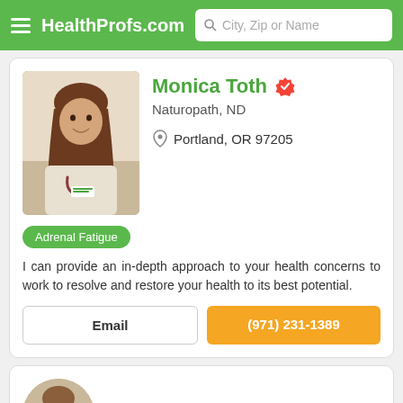HealthProfs.com  City, Zip or Name
Monica Toth
Naturopath, ND
Portland, OR 97205
Adrenal Fatigue
I can provide an in-depth approach to your health concerns to work to resolve and restore your health to its best potential.
Email
(971) 231-1389
Christie Winkelman